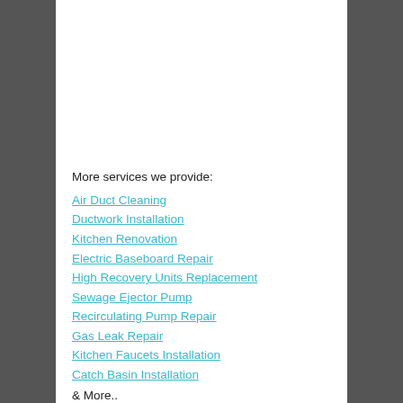More services we provide:
Air Duct Cleaning
Ductwork Installation
Kitchen Renovation
Electric Baseboard Repair
High Recovery Units Replacement
Sewage Ejector Pump
Recirculating Pump Repair
Gas Leak Repair
Kitchen Faucets Installation
Catch Basin Installation
& More..
Cities and Zip Codes we serve: